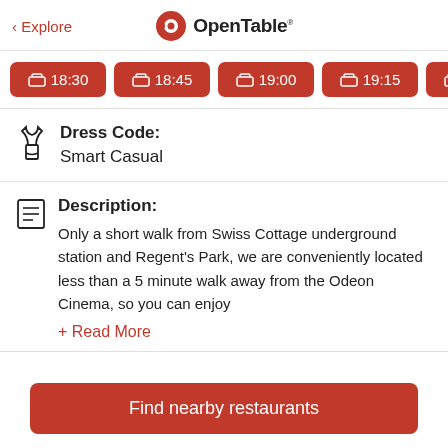< Explore    OpenTable
18:30
18:45
19:00
19:15
19:30
Dress Code: Smart Casual
Description: Only a short walk from Swiss Cottage underground station and Regent's Park, we are conveniently located less than a 5 minute walk away from the Odeon Cinema, so you can enjoy
+ Read More
Find nearby restaurants